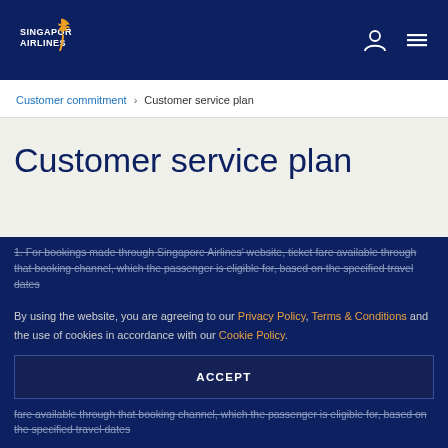Singapore Airlines
Customer commitment > Customer service plan
Customer service plan
This Customer Service Plan has been introduced pursuant to the US Department of Transportation Final Rule on Enhancing Airline Passenger Protections II, and is applicable only for flights to or from the USA.
By using the website, you are agreeing to our Privacy Policy, Terms & Conditions and the use of cookies in accordance with our Cookie Policy.
1. For bookings made through Singapore Airlines' website, ticket fare available through that booking channel, which the passenger is eligible for, based on the specified travel dates...
ACCEPT